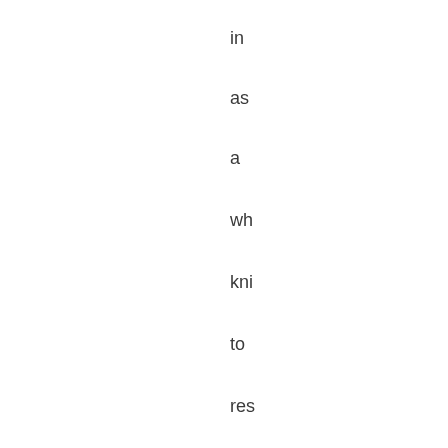in
as
a
wh
kni
to
res
yor
sut
cor
I
sal
yor
for
yor
wo
ani